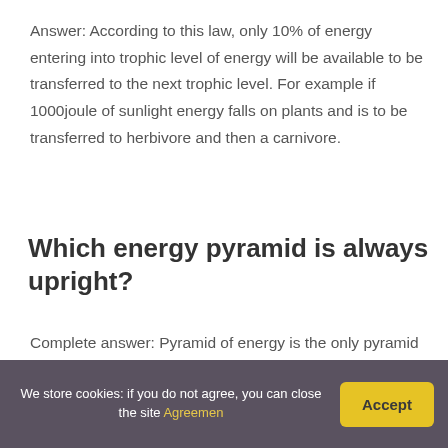Answer: According to this law, only 10% of energy entering into trophic level of energy will be available to be transferred to the next trophic level. For example if 1000joule of sunlight energy falls on plants and is to be transferred to herbivore and then a carnivore.
Which energy pyramid is always upright?
Complete answer: Pyramid of energy is the only pyramid that can never be inverted and is always upright. This is because some amount of energy in the form of heat is always lost to the environment at
We store cookies: if you do not agree, you can close the site Agreemen